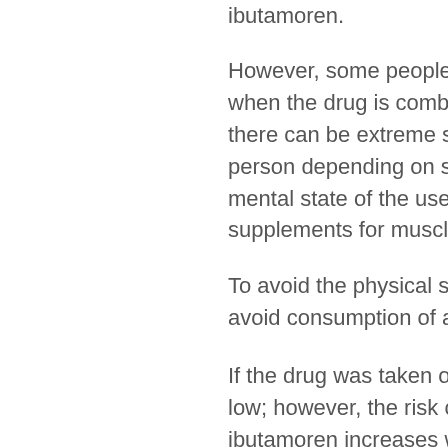ibutamoren.
However, some people experience more serious reactions when the drug is combined with alcohol. As with any drug, there can be extreme side effects that may vary from person to person depending on several factors such as medical and mental state of the user when the drug is used, 7 best supplements for muscle growth.
To avoid the physical side effects of ibutamoren, one must avoid consumption of alcohol, sale for cardarine real.
If the drug was taken once, the risk of becoming overdone is low; however, the risk of becoming exhausted when taking ibutamoren increases when alcohol is consumed alongside the drug. It is important to take ibutamoren as soon as